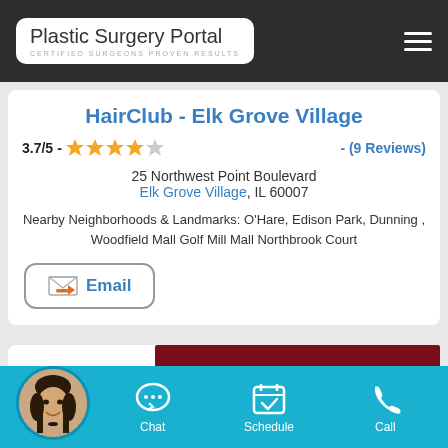Plastic Surgery Portal — CERTIFIED SURGEONS. PROVEN RESULTS.
HairClub - Elk Grove Village
3.7/5 - ★★★★☆ - (9 Reviews)
25 Northwest Point Boulevard
Elk Grove Village, IL 60007
Nearby Neighborhoods & Landmarks: O'Hare, Edison Park, Dunning , Woodfield Mall Golf Mill Mall Northbrook Court
[Figure (other): Email button with envelope icon]
[Figure (other): Bottom chat bar with avatar, Chat, Schedule, and Call icons on teal background]